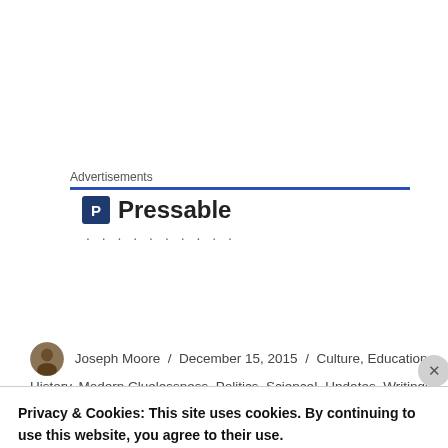Advertisements
[Figure (logo): Pressable logo with 'P' icon and text 'Pressable' followed by dotted line]
Joseph Moore / December 15, 2015 / Culture, Education History, Modern Cluelessness, Politics, Science!, Updates, Writings / Leave a comment
Privacy & Cookies: This site uses cookies. By continuing to use this website, you agree to their use.
To find out more, including how to control cookies, see here:
Cookie Policy
Close and accept